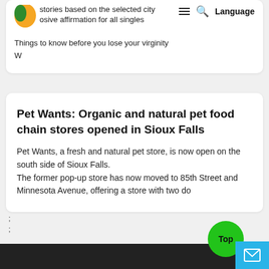stories based on the selected city
osive affirmation for all singles
Things to know before you lose your virginity
W
Pet Wants: Organic and natural pet food chain stores opened in Sioux Falls
Pet Wants, a fresh and natural pet store, is now open on the south side of Sioux Falls.
The former pop-up store has now moved to 85th Street and Minnesota Avenue, offering a store with two do
;
;